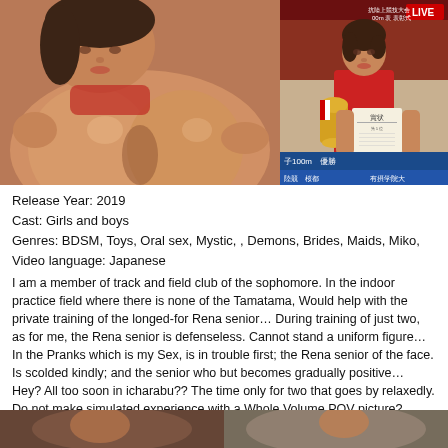[Figure (photo): Two 3D rendered anime-style female character images side by side. Left: close-up of character in red outfit. Right: character in red athletic wear holding a trophy and certificate with Japanese text and LIVE broadcast overlay.]
Release Year: 2019
Cast: Girls and boys
Genres: BDSM, Toys, Oral sex, Mystic, , Demons, Brides, Maids, Miko,
Video language: Japanese
I am a member of track and field club of the sophomore. In the indoor practice field where there is none of the Tamatama, Would help with the private training of the longed-for Rena senior… During training of just two, as for me, the Rena senior is defenseless. Cannot stand a uniform figure… In the Pranks which is my Sex, is in trouble first; the Rena senior of the face. Is scolded kindly; and the senior who but becomes gradually positive… Hey? All too soon in icharabu?? The time only for two that goes by relaxedly. Do not make simulated experience with a Whole Volume POV picture?
[Figure (photo): Two smaller preview images at the bottom of the page, partially visible.]